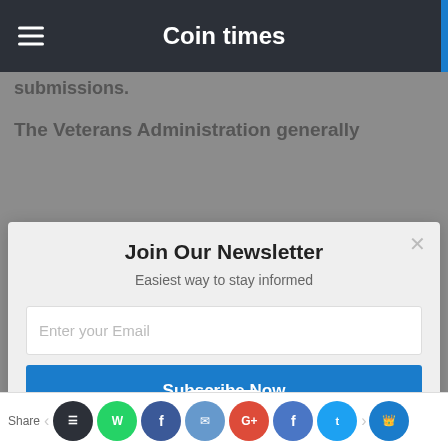Coin times
submissions.
The Veterans Administration generally
Join Our Newsletter
Easiest way to stay informed
Enter your Email
Subscribe Now
company and Industry veteran Chief Credit
Share